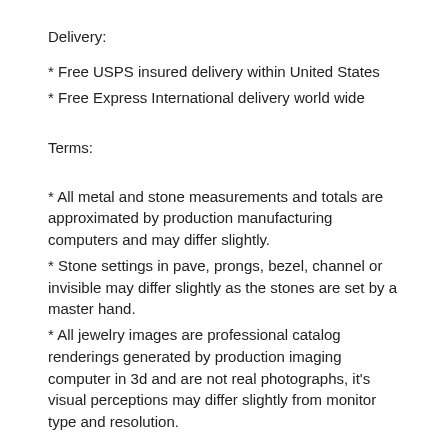Delivery:
* Free USPS insured delivery within United States
* Free Express International delivery world wide
Terms:
* All metal and stone measurements and totals are approximated by production manufacturing computers and may differ slightly.
* Stone settings in pave, prongs, bezel, channel or invisible may differ slightly as the stones are set by a master hand.
* All jewelry images are professional catalog renderings generated by production imaging computer in 3d and are not real photographs, it’s visual perceptions may differ slightly from monitor type and resolution.
100% Satisfaction Guarantee
At Master, Gemenia 14K Black Gold 1.05 Ct Di...